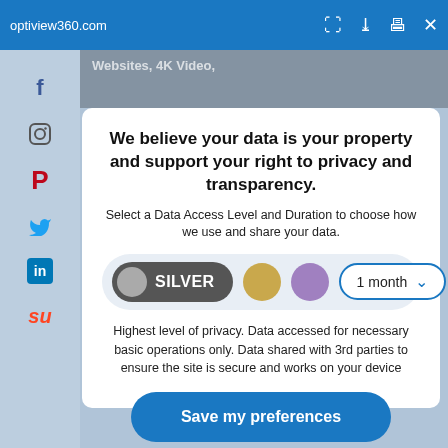optiview360.com
[Figure (screenshot): Browser toolbar with URL optiview360.com and icons for fullscreen, download, print, close]
[Figure (infographic): Social media sidebar icons: Facebook, Instagram, Pinterest, Twitter, LinkedIn, StumbleUpon]
We believe your data is your property and support your right to privacy and transparency.
Select a Data Access Level and Duration to choose how we use and share your data.
[Figure (infographic): SILVER toggle selected, gold dot, purple dot, 1 month dropdown selector]
Highest level of privacy. Data accessed for necessary basic operations only. Data shared with 3rd parties to ensure the site is secure and works on your device
Save my preferences
Customize
Privacy policy